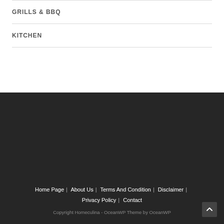GRILLS & BBQ
KITCHEN
Home Page | About Us | Terms And Condition | Disclaimer | Privacy Policy | Contact
Copyright Homeculina - OceanWP Theme by OceanWP